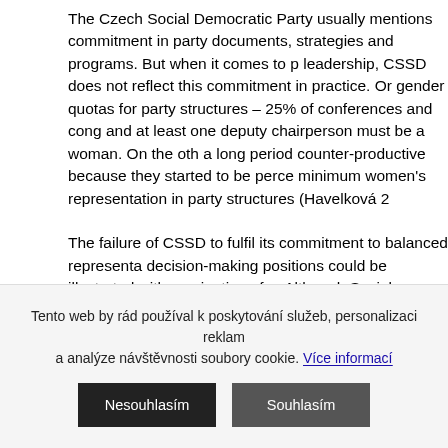The Czech Social Democratic Party usually mentions commitment in party documents, strategies and programs. But when it comes to party leadership, CSSD does not reflect this commitment in practice. On gender quotas for party structures – 25% of conferences and congresses and at least one deputy chairperson must be a woman. On the other hand, a long period counter-productive because they started to be perceived as minimum women's representation in party structures (Havelková 2...).
The failure of CSSD to fulfil its commitment to balanced representation in decision-making positions could be illustrated with nomination of ministers. Although Social Democratic Party gained seven of 17 seats in the government, nominate any women for the ministerial offices. Later when the man Affairs Petr Krcalek gave up his nomination because of health issues respond to critique that party committed to gender equality does not announced immediately five women candidates with experiences in (Chlubná 2014). This particular case disproves the popular argument that it will not be possible to find a sufficient number of qualified women politicians. circumstances the Social Democratic Party voluntarily adopted candidates with focus.
Window of Opportunity
Tento web by rád používal k poskytování služeb, personalizaci reklam a analýze návštěvnosti soubory cookie. Více informací